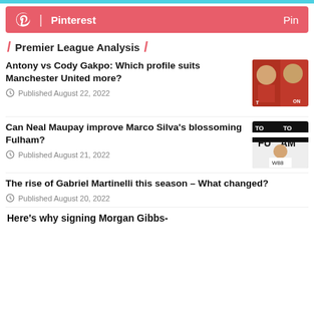[Figure (screenshot): Pinterest share button bar with pink background and 'Pin' text on right]
/ Premier League Analysis /
Antony vs Cody Gakpo: Which profile suits Manchester United more?
Published August 22, 2022
[Figure (photo): Photo of two footballers in red jerseys (Antony and Cody Gakpo)]
Can Neal Maupay improve Marco Silva's blossoming Fulham?
Published August 21, 2022
[Figure (photo): Photo of a Fulham footballer in white jersey with W88 sponsor]
The rise of Gabriel Martinelli this season – What changed?
Published August 20, 2022
Here's why signing Morgan Gibbs-